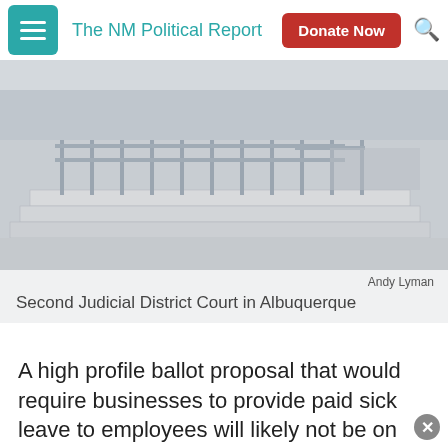The NM Political Report
[Figure (photo): Second Judicial District Court building in Albuquerque showing concrete steps and metal railings]
Andy Lyman
Second Judicial District Court in Albuquerque
A high profile ballot proposal that would require businesses to provide paid sick leave to employees will likely not be on the ballot this November.
A district judge in
[Figure (photo): Protesters holding signs including ALBUQUERQUE banner and We're Sick of Waiting sign, wearing red shirts]